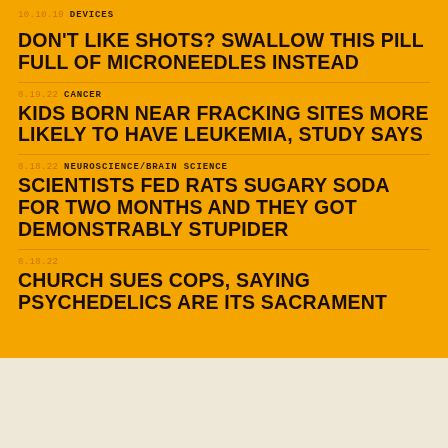10.10.19  DEVICES
DON'T LIKE SHOTS? SWALLOW THIS PILL FULL OF MICRONEEDLES INSTEAD
8.19.22  CANCER
KIDS BORN NEAR FRACKING SITES MORE LIKELY TO HAVE LEUKEMIA, STUDY SAYS
8.18.22  NEUROSCIENCE/BRAIN SCIENCE
SCIENTISTS FED RATS SUGARY SODA FOR TWO MONTHS AND THEY GOT DEMONSTRABLY STUPIDER
8.18.22
CHURCH SUES COPS, SAYING PSYCHEDELICS ARE ITS SACRAMENT